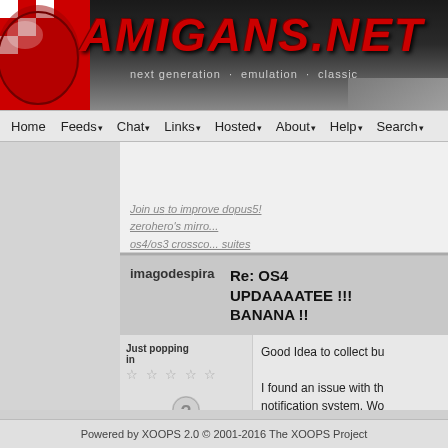[Figure (screenshot): Amigans.net website header banner with checkered flag logo, red italic AMIGANS.NET text, and tagline 'next generation · emulation · classic']
Home  Feeds  Chat  Links  Hosted  About  Help  Search
Join us to improve dopus5! zerohero's mirror os4/os3 crosscompiler suites
imagodespira   Re: OS4 UPDAAAATEE !!! BANANA !!
Just popping in
Good Idea to collect bu   I found an issue with the notification system. Would be nice to check it on your (i just installed the upd... my existing system).
Powered by XOOPS 2.0 © 2001-2016 The XOOPS Project